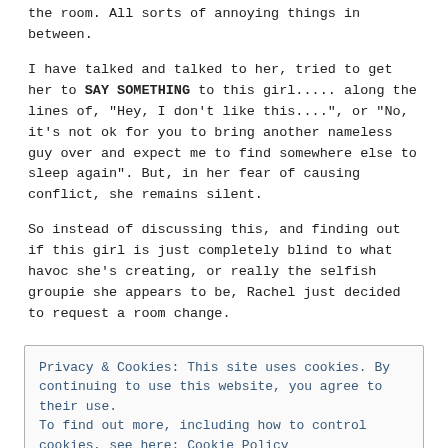the room. All sorts of annoying things in between.
I have talked and talked to her, tried to get her to SAY SOMETHING to this girl..... along the lines of, "Hey, I don't like this....", or "No, it's not ok for you to bring another nameless guy over and expect me to find somewhere else to sleep again". But, in her fear of causing conflict, she remains silent.
So instead of discussing this, and finding out if this girl is just completely blind to what havoc she's creating, or really the selfish groupie she appears to be, Rachel just decided to request a room change.
Privacy & Cookies: This site uses cookies. By continuing to use this website, you agree to their use.
To find out more, including how to control cookies, see here: Cookie Policy
Close and accept
I have given all the unsolicited advice I can think of. At LEAST give this